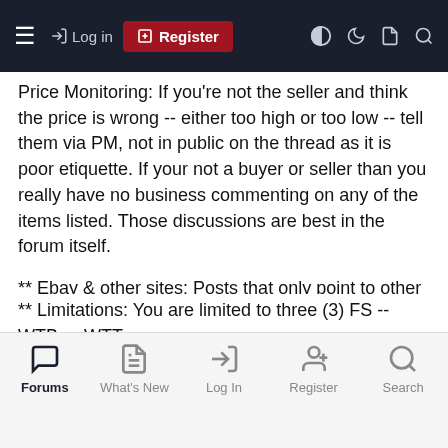≡  → Log in  ⊞ Register  ◐ ☾ ▣ 🔍
Price Monitoring: If you're not the seller and think the price is wrong -- either too high or too low -- tell them via PM, not in public on the thread as it is poor etiquette. If your not a buyer or seller than you really have no business commenting on any of the items listed. Those discussions are best in the forum itself.
** Ebay & other sites: Posts that only point to other sale or auction sites are NOT appreciated. However, if your listed item has not sold here after 48 hours, then it is okay to add a note you've moved the the item to the 3rd party site. If you link prior to the 48 hour limit, your post may be deleted without comment.
** Limitations: You are limited to three (3) FS -- WTB or WTT items in a single post as you wish. Also, you may sell any
Forums  What's New  Log In  Register  Search